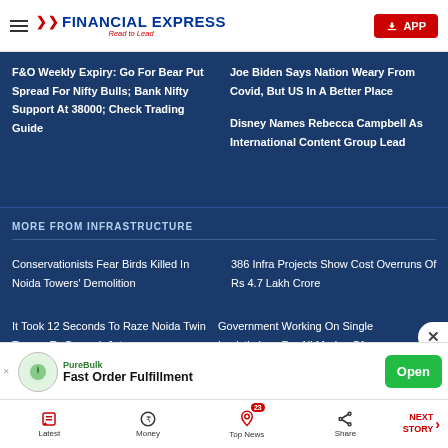Financial Express — Read to Lead | APP
F&O Weekly Expiry: Go For Bear Put Spread For Nifty Bulls; Bank Nifty Support At 38000; Check Trading Guide
Joe Biden Says Nation Weary From Covid, But US In A Better Place
Disney Names Rebecca Campbell As International Content Group Lead
MORE FROM INFRASTRUCTURE
Conservationists Fear Birds Killed In Noida Towers' Demolition
386 Infra Projects Show Cost Overruns Of Rs 4.7 Lakh Crore
It Took 12 Seconds To Raze Noida Twin Towers To Ground: Jet
Government Working On Single Logistic Law For All Modes Of
[Figure (screenshot): PureBulk advertisement banner: Fast Order Fulfillment with Open button]
Latest | Money | Top News (23) | Share | NEXT STORY